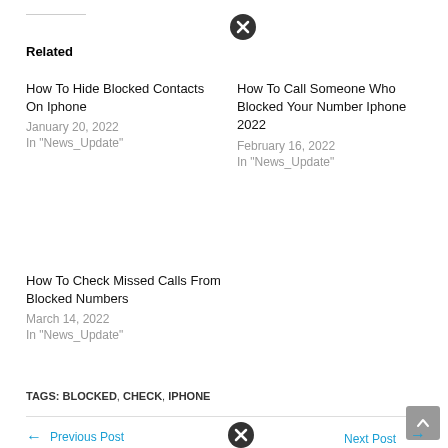Related
How To Hide Blocked Contacts On Iphone
January 20, 2022
In "News_Update"
How To Call Someone Who Blocked Your Number Iphone 2022
February 16, 2022
In "News_Update"
How To Check Missed Calls From Blocked Numbers
March 14, 2022
In "News_Update"
TAGS: BLOCKED, CHECK, IPHONE
← Previous Post
How To Unmute Iphone Ringer
Next Post →